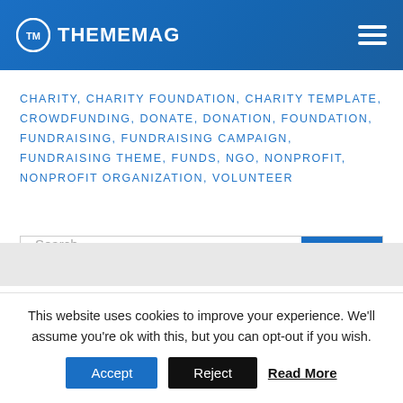THEMEMAG
CHARITY, CHARITY FOUNDATION, CHARITY TEMPLATE, CROWDFUNDING, DONATE, DONATION, FOUNDATION, FUNDRAISING, FUNDRAISING CAMPAIGN, FUNDRAISING THEME, FUNDS, NGO, NONPROFIT, NONPROFIT ORGANIZATION, VOLUNTEER
Search
This website uses cookies to improve your experience. We'll assume you're ok with this, but you can opt-out if you wish.
Accept  Reject  Read More